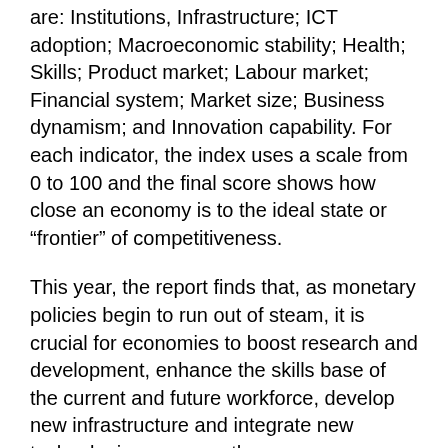are: Institutions, Infrastructure; ICT adoption; Macroeconomic stability; Health; Skills; Product market; Labour market; Financial system; Market size; Business dynamism; and Innovation capability. For each indicator, the index uses a scale from 0 to 100 and the final score shows how close an economy is to the ideal state or “frontier” of competitiveness.
This year, the report finds that, as monetary policies begin to run out of steam, it is crucial for economies to boost research and development, enhance the skills base of the current and future workforce, develop new infrastructure and integrate new technologies, among other measures.
With a score of 84.8 (+1.3), Singapore is the world’s most competitive economy in 2019. The United States remains the most competitive large economy in the world, moving to second place from Hong Kong SAR (3rd).